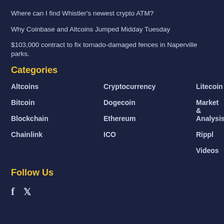Where can I find Whistler's newest crypto ATM?
Why Coinbase and Altcoins Jumped Midday Tuesday
$103,000 contract to fix tornado-damaged fences in Naperville parks.
Categories
| Col1 | Col2 | Col3 |
| --- | --- | --- |
| Altcoins | Cryptocurrency | Litecoin |
| Bitcoin | Dogecoin | Market & Analysis |
| Blockchain | Ethereum | Rippl |
| Chainlink | ICO | Videos |
Follow Us
[Facebook icon] [Twitter icon]